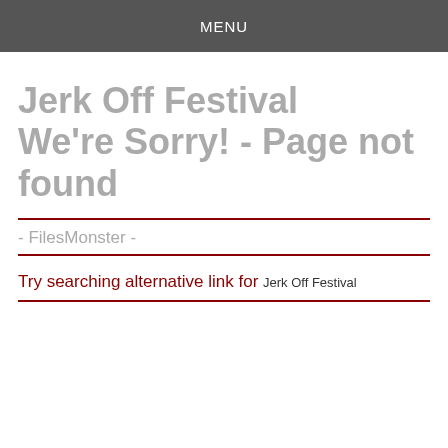MENU
Jerk Off Festival
We're Sorry! - Page not found
- FilesMonster -
Try searching alternative link for Jerk Off Festival